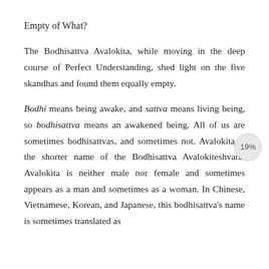Empty of What?
The Bodhisattva Avalokita, while moving in the deep course of Perfect Understanding, shed light on the five skandhas and found them equally empty.
Bodhi means being awake, and sattva means living being, so bodhisattva means an awakened being. All of us are sometimes bodhisattvas, and sometimes not. Avalokita is the shorter name of the Bodhisattva Avalokiteshvara. Avalokita is neither male nor female and sometimes appears as a man and sometimes as a woman. In Chinese, Vietnamese, Korean, and Japanese, this bodhisattva's name is sometimes translated as